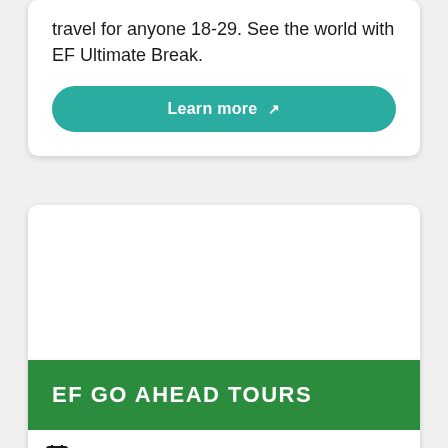travel for anyone 18-29. See the world with EF Ultimate Break.
Learn more
[Figure (other): White image placeholder area inside card]
EF GO AHEAD TOURS
1 - 4 weeks